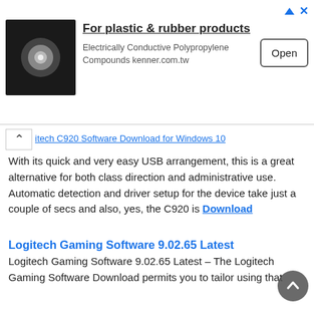[Figure (screenshot): Advertisement banner for kenner.com.tw plastic and rubber products. Shows product image on left, text 'For plastic & rubber products / Electrically Conductive Polypropylene Compounds kenner.com.tw' in center, and 'Open' button on right.]
With its quick and very easy USB arrangement, this is a great alternative for both class direction and administrative use. Automatic detection and driver setup for the device take just a couple of secs and also, yes, the C920 is Download
Logitech Gaming Software 9.02.65 Latest
Logitech Gaming Software 9.02.65 Latest – The Logitech Gaming Software Download permits you to tailor using that hardware. The application has a colorful and attractive user interface, which is also rather instinctive. At the start-up display, you will comprehend your Download
Logitech Webcam Software 2.04.13 Latest Version
Logitech Webcam Software – The Logitech Capture tailors your video clip recordings with change effects, filters, text